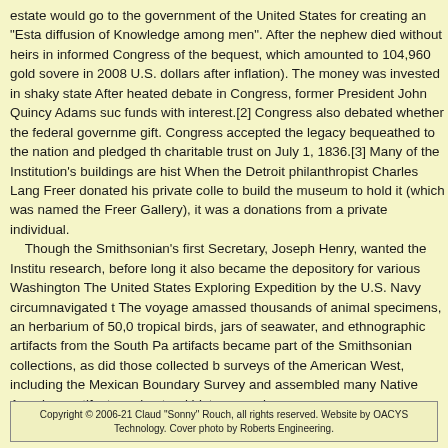estate would go to the government of the United States for creating an "Esta diffusion of Knowledge among men". After the nephew died without heirs in informed Congress of the bequest, which amounted to 104,960 gold sovere in 2008 U.S. dollars after inflation). The money was invested in shaky state After heated debate in Congress, former President John Quincy Adams suc funds with interest.[2] Congress also debated whether the federal governme gift. Congress accepted the legacy bequeathed to the nation and pledged th charitable trust on July 1, 1836.[3] Many of the Institution's buildings are hist When the Detroit philanthropist Charles Lang Freer donated his private colle to build the museum to hold it (which was named the Freer Gallery), it was a donations from a private individual. Though the Smithsonian's first Secretary, Joseph Henry, wanted the Institu research, before long it also became the depository for various Washington The United States Exploring Expedition by the U.S. Navy circumnavigated t The voyage amassed thousands of animal specimens, an herbarium of 50,0 tropical birds, jars of seawater, and ethnographic artifacts from the South Pa artifacts became part of the Smithsonian collections, as did those collected b surveys of the American West, including the Mexican Boundary Survey and assembled many Native American artifacts and natural history specimens.
Copyright © 2006-21 Claud "Sonny" Rouch, all rights reserved. Website by OACYS Technology. Cover photo by Roberts Engineering.